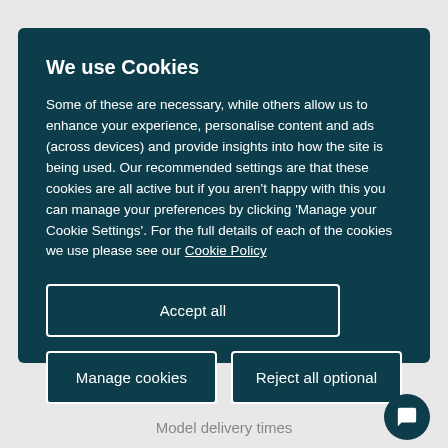We use Cookies
Some of these are necessary, while others allow us to enhance your experience, personalise content and ads (across devices) and provide insights into how the site is being used. Our recommended settings are that these cookies are all active but if you aren't happy with this you can manage your preferences by clicking 'Manage your Cookie Settings'. For the full details of each of the cookies we use please see our Cookie Policy
Accept all
Manage cookies
Reject all optional
Model delivery times